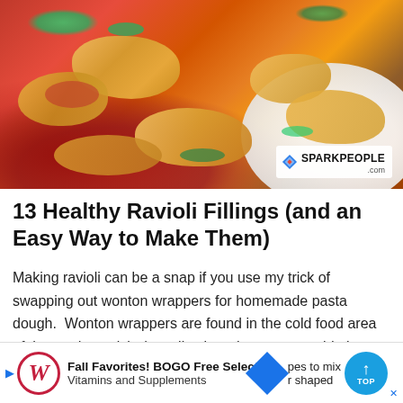[Figure (photo): Photo of ravioli pasta with red tomato sauce and green herbs on a white plate, with SparkPeople.com watermark in bottom right corner]
13 Healthy Ravioli Fillings (and an Easy Way to Make Them)
Making ravioli can be a snap if you use my trick of swapping out wonton wrappers for homemade pasta dough.  Wonton wrappers are found in the cold food area of the produce aisle (usually also where you would also find tofu).
Fall Favorites! BOGO Free Select Vitamins and Supplements  pes to mix  r shaped